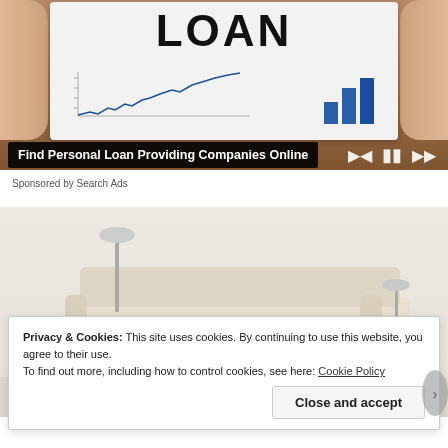[Figure (photo): Advertisement banner showing hands holding a card/tablet with the word LOAN, a line chart, and bar chart icons visible on the card. Video player controls (skip back, pause, skip forward) and a progress bar are shown at the bottom of the image.]
Find Personal Loan Providing Companies Online
Sponsored by Search Ads
[Figure (photo): Partial view of a modern white/cream sectional sofa with a lamp, side table, and decorative items, shown in a lifestyle/advertisement context.]
Privacy & Cookies: This site uses cookies. By continuing to use this website, you agree to their use.
To find out more, including how to control cookies, see here: Cookie Policy
Close and accept